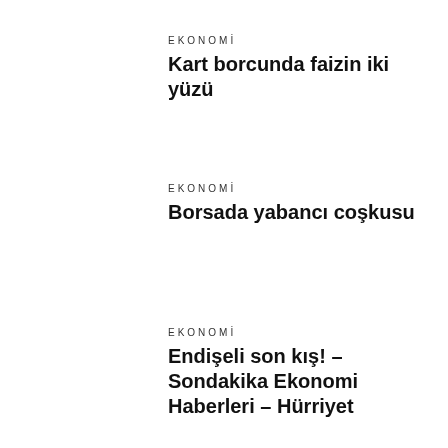EKONOMİ
Kart borcunda faizin iki yüzü
EKONOMİ
Borsada yabancı coşkusu
EKONOMİ
Endişeli son kış! – Sondakika Ekonomi Haberleri – Hürriyet